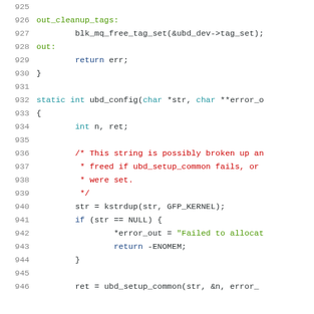[Figure (screenshot): Source code listing showing lines 925-946 of a C source file. The code shows cleanup labels, a static int ubd_config function, and variable declarations with comments about string handling and memory allocation.]